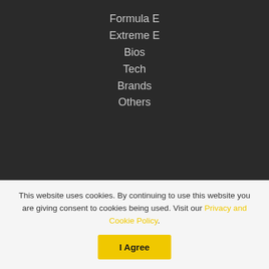Formula E
Extreme E
Bios
Tech
Brands
Others
Newsletter
Subscribe to our mailing list to receive Monthly updates direct to your inbox!
Email
This website uses cookies. By continuing to use this website you are giving consent to cookies being used. Visit our Privacy and Cookie Policy.
I Agree